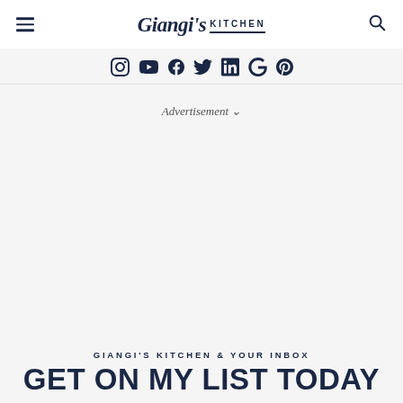Giangi's Kitchen
[Figure (infographic): Social media icons row: Instagram, YouTube, Facebook, Twitter, LinkedIn, Google, Pinterest]
Advertisement ∨
GIANGI'S KITCHEN & YOUR INBOX
GET ON MY LIST TODAY